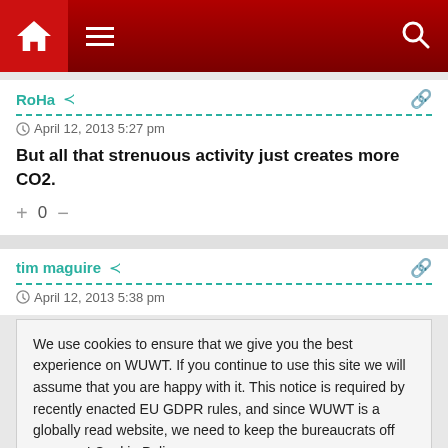Navigation bar with home, menu, and search icons
RoHa
April 12, 2013 5:27 pm
But all that strenuous activity just creates more CO2.
+ 0 −
tim maguire
April 12, 2013 5:38 pm
We use cookies to ensure that we give you the best experience on WUWT. If you continue to use this site we will assume that you are happy with it. This notice is required by recently enacted EU GDPR rules, and since WUWT is a globally read website, we need to keep the bureaucrats off our case! Cookie Policy
Close and accept